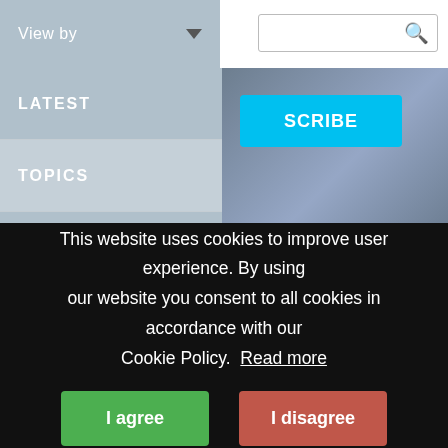View by
LATEST
TOPICS
AUTHORS
WEBINARS
[Figure (screenshot): Partial screenshot of a website with navigation dropdown showing View by, LATEST, TOPICS, AUTHORS, WEBINARS, a SUBSCRIBE button, and an article beginning with 'aining' in the title.]
aining
Knowing oneself, or one's child, can help parents,
This website uses cookies to improve user experience. By using our website you consent to all cookies in accordance with our Cookie Policy. Read more
I agree
I disagree